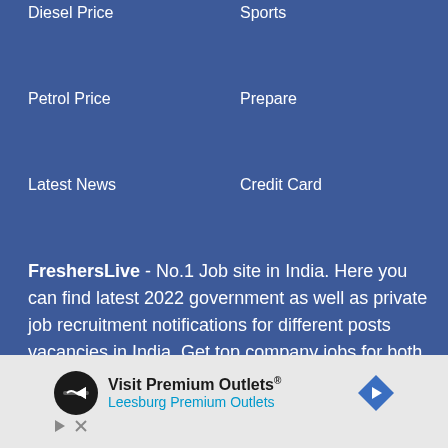Diesel Price
Sports
Petrol Price
Prepare
Latest News
Credit Card
FreshersLive - No.1 Job site in India. Here you can find latest 2022 government as well as private job recruitment notifications for different posts vacancies in India. Get top company jobs for both fresher and experienced. Job Seekers can get useful interview tips, resume services & interview Question and answer. Practice online test free which is helpful for interview preparation. Register with us to get latest employment news/rojgar
[Figure (infographic): Advertisement banner for Visit Premium Outlets - Leesburg Premium Outlets with circular logo icon and navigation arrow icon]